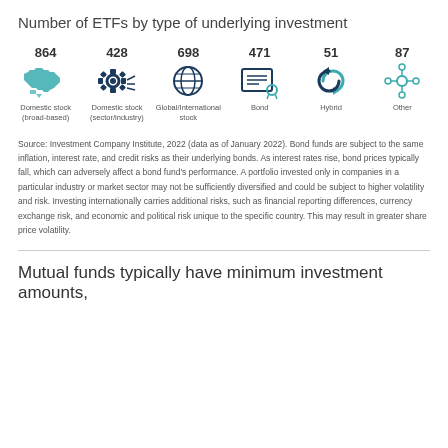Number of ETFs by type of underlying investment
[Figure (infographic): Six icons representing ETF categories with counts: Domestic stock (broad-based) 864, Domestic stock (sector/industry) 428, Global/International stock 698, Bond 471, Hybrid 51, Other 87]
Source: Investment Company Institute, 2022 (data as of January 2022). Bond funds are subject to the same inflation, interest rate, and credit risks as their underlying bonds. As interest rates rise, bond prices typically fall, which can adversely affect a bond fund’s performance. A portfolio invested only in companies in a particular industry or market sector may not be sufficiently diversified and could be subject to higher volatility and risk. Investing internationally carries additional risks, such as financial reporting differences, currency exchange risk, and economic and political risk unique to the specific country. This may result in greater share price volatility.
Mutual funds typically have minimum investment amounts,